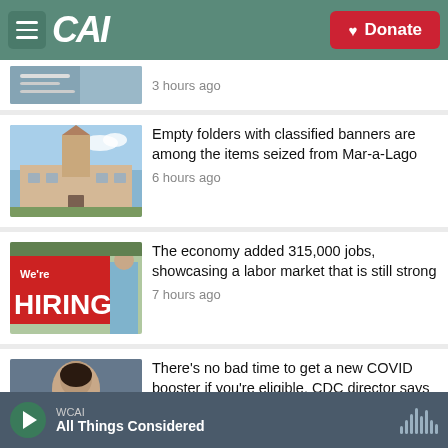CAI — Donate
[Figure (screenshot): Partial thumbnail of a news image at top]
3 hours ago
[Figure (photo): Photo of Mar-a-Lago building exterior]
Empty folders with classified banners are among the items seized from Mar-a-Lago
6 hours ago
[Figure (photo): Red We're HIRING sign with a person standing behind it]
The economy added 315,000 jobs, showcasing a labor market that is still strong
7 hours ago
[Figure (photo): Portrait photo of a woman, CDC director]
There's no bad time to get a new COVID booster if you're eligible, CDC director says
WCAI — All Things Considered